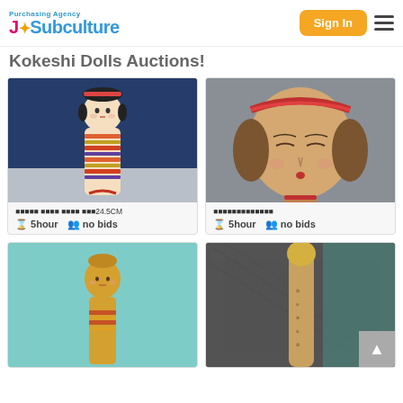[Figure (logo): J-Subculture Purchasing Agency logo with pink/blue text]
Kokeshi Dolls Auctions!
[Figure (photo): Kokeshi doll with colorful striped body on blue background]
⬛⬛⬛⬛⬛ ⬛⬛⬛⬛ ⬛⬛⬛⬛ ⬛⬛⬛24.5CM
⌛ 5hour  👥 no bids
[Figure (photo): Close-up of kokeshi doll head with red face paint on gray background]
⬛⬛⬛⬛⬛⬛⬛⬛⬛⬛⬛⬛⬛
⌛ 5hour  👥 no bids
[Figure (photo): Kokeshi doll with gold-painted head on teal background]
[Figure (photo): Kokeshi doll top detail on dark fabric background]